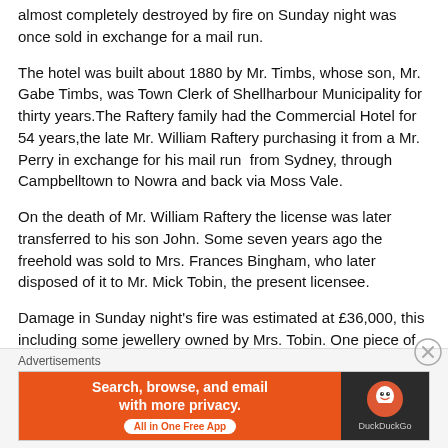almost completely destroyed by fire on Sunday night was once sold in exchange for a mail run.
The hotel was built about 1880 by Mr. Timbs, whose son, Mr. Gabe Timbs, was Town Clerk of Shellharbour Municipality for thirty years.The Raftery family had the Commercial Hotel for 54 years,the late Mr. William Raftery purchasing it from a Mr. Perry in exchange for his mail run from Sydney, through Campbelltown to Nowra and back via Moss Vale.
On the death of Mr. William Raftery the license was later transferred to his son John. Some seven years ago the freehold was sold to Mrs. Frances Bingham, who later disposed of it to Mr. Mick Tobin, the present licensee.
Damage in Sunday night's fire was estimated at £36,000, this including some jewellery owned by Mrs. Tobin. One piece of jewellery was a century old cameo brooch.
Advertisements
[Figure (screenshot): DuckDuckGo advertisement banner: orange section with text 'Search, browse, and email with more privacy. All in One Free App' and dark section with DuckDuckGo logo and name.]